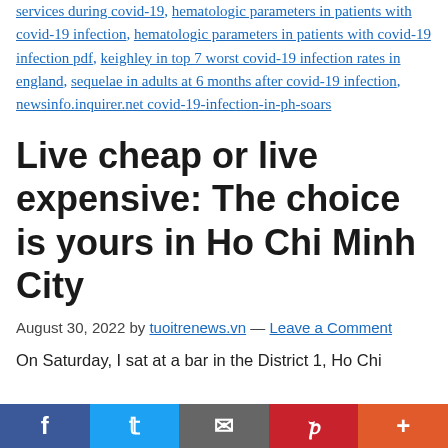services during covid-19, hematologic parameters in patients with covid-19 infection, hematologic parameters in patients with covid-19 infection pdf, keighley in top 7 worst covid-19 infection rates in england, sequelae in adults at 6 months after covid-19 infection, newsinfo.inquirer.net covid-19-infection-in-ph-soars
Live cheap or live expensive: The choice is yours in Ho Chi Minh City
August 30, 2022 by tuoitrenews.vn — Leave a Comment
On Saturday, I sat at a bar in the District 1, Ho Chi